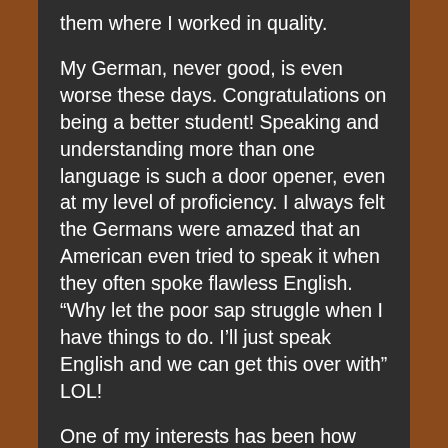them where I worked in quality.
My German, never good, is even worse these days. Congratulations on being a better student! Speaking and understanding more than one language is such a door opener, even at my level of proficiency. I always felt the Germans were amazed that an American even tried to speak it when they often spoke flawless English. “Why let the poor sap struggle when I have things to do. I’ll just speak English and we can get this over with” LOL!
One of my interests has been how things are made. While in Germany, I